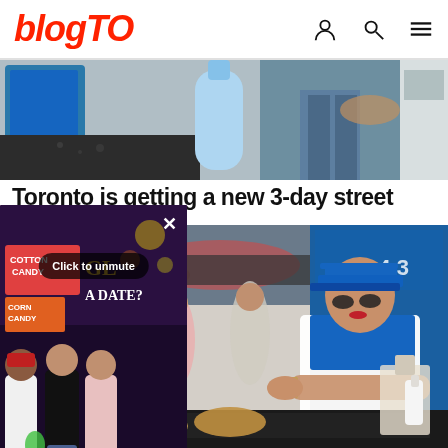blogTO
[Figure (photo): Top cropped photo showing blue containers, a water bottle, and a person in jeans at what appears to be a street food stall]
Toronto is getting a new 3-day street
[Figure (screenshot): Video overlay popup showing people at a fair/festival (CNE) with text 'Click to unmute', close button X, pause icon, and caption 'CNE as a date night spot']
[Figure (photo): Photo of a woman in a blue cap and apron working at a street food stall, cooking flatbreads on a griddle, with other people and market stalls in the background]